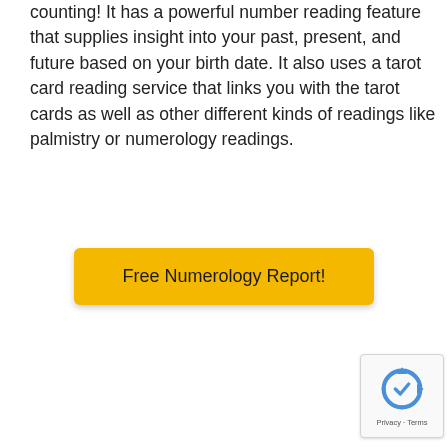counting! It has a powerful number reading feature that supplies insight into your past, present, and future based on your birth date. It also uses a tarot card reading service that links you with the tarot cards as well as other different kinds of readings like palmistry or numerology readings.
Free Numerology Report!
[Figure (other): reCAPTCHA logo with circular arrows icon, showing Privacy and Terms links below]